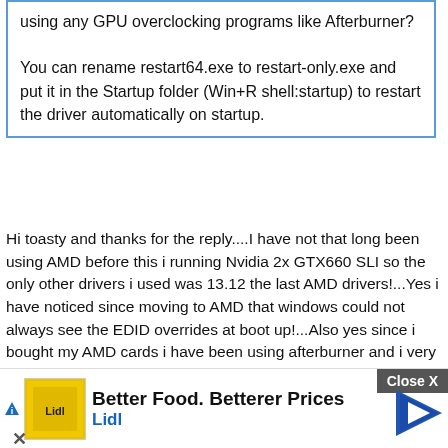using any GPU overclocking programs like Afterburner?

You can rename restart64.exe to restart-only.exe and put it in the Startup folder (Win+R shell:startup) to restart the driver automatically on startup.
Hi toasty and thanks for the reply....I have not that long been using AMD before this i running Nvidia 2x GTX660 SLI so the only other drivers i used was 13.12 the last AMD drivers!...Yes i have noticed since moving to AMD that windows could not always see the EDID overrides at boot up!...Also yes since i bought my AMD cards i have been using afterburner and i very quickly worked out the it was conflicting with the overrides as in windows could not see them and i nailed down afterburner as the Culprit and set a 30 second start up a delay for afterburner via task scheduler which seemed to cure that problem...I have to admit after installing my new Epson printer it got so much worse with it being a 70% chance of windows not loading with them!...Also i notice on some re-starts and boot ups just before i see the desktop i get like a USB disconnect sound and when this happens i know its not going to see the bloody thing...I have know idea as too of the source of the disconnect sound...But i have                                                                                                  en scre                                                                                   ware booti                                                                                ng
[Figure (other): Advertisement banner for Lidl with text 'Better Food. Betterer Prices' and Lidl logo, with a Close X button and navigation arrow icon.]